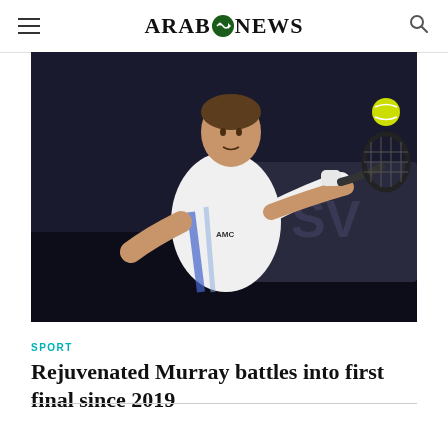ARAB NEWS
[Figure (photo): Tennis player Andy Murray hitting a backhand shot on an indoor court, wearing a white top with blue accents, with a yellow tennis ball visible in the air above the racket]
SPORT
Rejuvenated Murray battles into first final since 2019